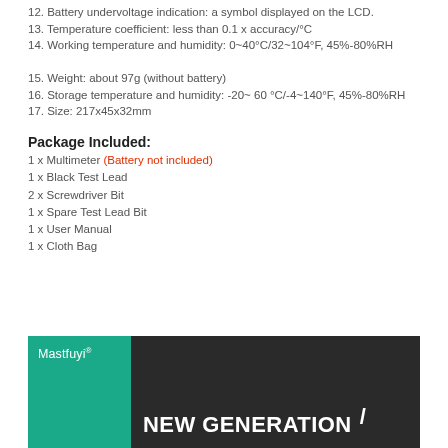12. Battery undervoltage indication: a symbol displayed on the LCD.
13. Temperature coefficient: less than 0.1 x accuracy/°C
14. Working temperature and humidity: 0~40°C/32~104°F, 45%-80%RH
15. Weight: about 97g (without battery)
16. Storage temperature and humidity: -20~ 60 °C/-4~140°F, 45%-80%RH
17. Size: 217x45x32mm
Package Included:
1 x Multimeter (Battery not included)
1 x Black Test Lead
2 x Screwdriver Bit
1 x Spare Test Lead Bit
1 x User Manual
1 x Cloth Bag
[Figure (photo): Mastfuyi brand image with teal logo panel on left and dark background with 'NEW GENERATION' text and pencil/pen image on right]